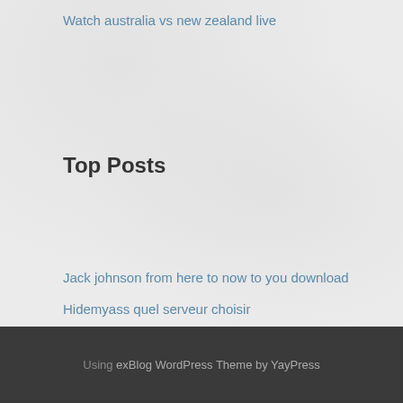Watch australia vs new zealand live
Top Posts
Jack johnson from here to now to you download
Hidemyass quel serveur choisir
Private vpn einrichten
Mac download 10.7
Android vpn privacy
Using exBlog WordPress Theme by YayPress